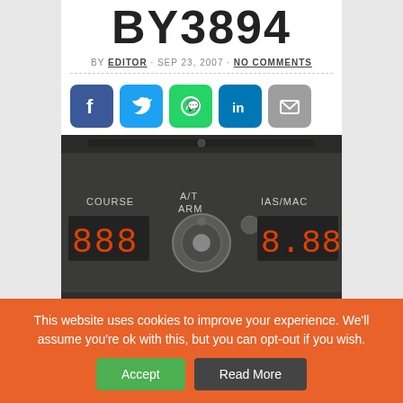BY3894
BY EDITOR · SEP 23, 2007 · NO COMMENTS
[Figure (infographic): Social share buttons: Facebook, Twitter, WhatsApp, LinkedIn, Email]
[Figure (photo): Photo of an aircraft autopilot control panel showing COURSE, A/T ARM, and IAS/MACH controls with LED digit displays]
This website uses cookies to improve your experience. We'll assume you're ok with this, but you can opt-out if you wish.